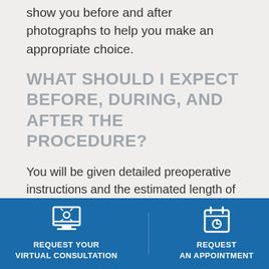show you before and after photographs to help you make an appropriate choice.
WHAT SHOULD I EXPECT BEFORE, DURING, AND AFTER THE PROCEDURE?
You will be given detailed preoperative instructions and the estimated length of your surgery. Dr. Gabbay will answer any questions you may have. You should stop smoking at least four weeks prior to surgery, limit alcohol consumption, maintain excellent hydration, and avoid taking
[Figure (infographic): Blue footer bar with two buttons: 'REQUEST YOUR VIRTUAL CONSULTATION' with a monitor/screen icon, and 'REQUEST AN APPOINTMENT' with a calendar icon]
REQUEST YOUR VIRTUAL CONSULTATION
REQUEST AN APPOINTMENT